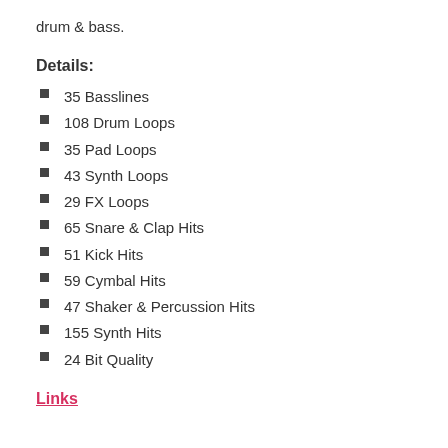drum & bass.
Details:
35 Basslines
108 Drum Loops
35 Pad Loops
43 Synth Loops
29 FX Loops
65 Snare & Clap Hits
51 Kick Hits
59 Cymbal Hits
47 Shaker & Percussion Hits
155 Synth Hits
24 Bit Quality
Links